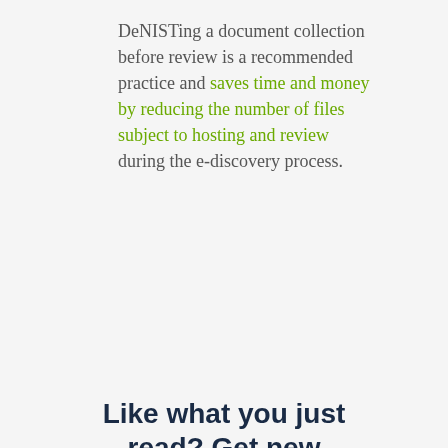DeNISTing a document collection before review is a recommended practice and saves time and money by reducing the number of files subject to hosting and review during the e-discovery process.
Like what you just read? Get new articles via email:
Email*
This website uses cookies to improve functionality, analyze traffic and enable social media features. More details are in our Privacy Policy.